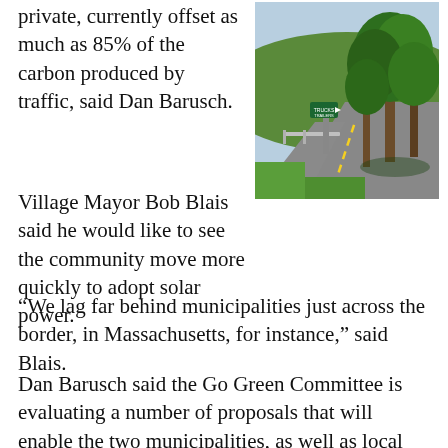private, currently offset as much as 85% of the carbon produced by traffic, said Dan Barusch.
[Figure (photo): A tree-lined road with large green trees on the right side and a green highway directional sign visible in the background. The road curves gently with guardrails on the left. Taken in summer with lush foliage.]
Village Mayor Bob Blais said he would like to see the community move more quickly to adopt solar power.
“We lag far behind municipalities just across the border, in Massachusetts, for instance,” said Blais.
Dan Barusch said the Go Green Committee is evaluating a number of proposals that will enable the two municipalities, as well as local residents and businesses, develop more sustainable sources of energy.